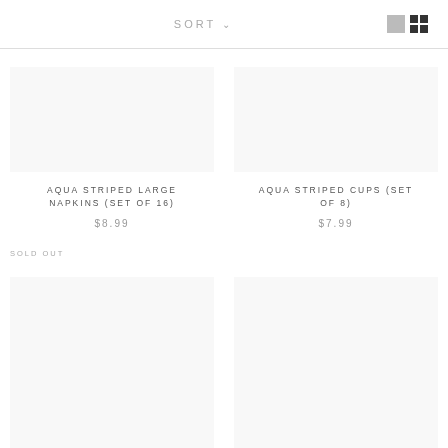SORT
AQUA STRIPED LARGE NAPKINS (SET OF 16)
$8.99
AQUA STRIPED CUPS (SET OF 8)
$7.99
SOLD OUT